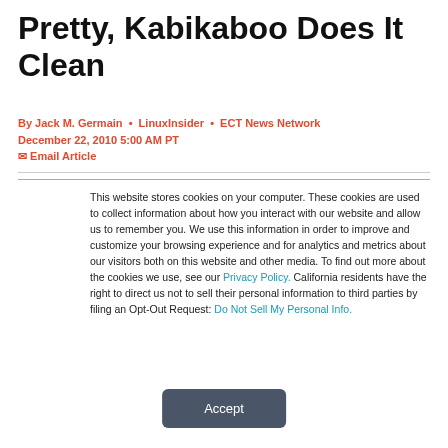Pretty, Kabikaboo Does It Clean
By Jack M. Germain • LinuxInsider • ECT News Network
December 22, 2010 5:00 AM PT
✉ Email Article
This website stores cookies on your computer. These cookies are used to collect information about how you interact with our website and allow us to remember you. We use this information in order to improve and customize your browsing experience and for analytics and metrics about our visitors both on this website and other media. To find out more about the cookies we use, see our Privacy Policy. California residents have the right to direct us not to sell their personal information to third parties by filing an Opt-Out Request: Do Not Sell My Personal Info.